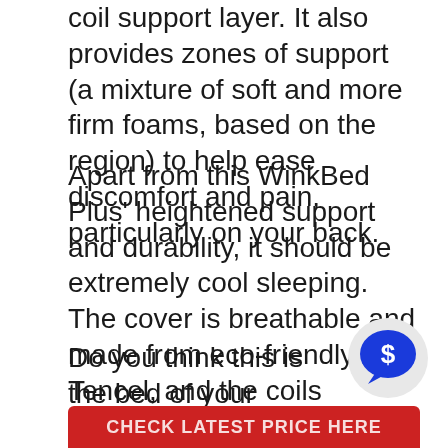coil support layer. It also provides zones of support (a mixture of soft and more firm foams, based on the region) to help ease discomfort and pain, particularly on your back.
Apart from this WinkBed Plus' heightened support and durability, it should be extremely cool sleeping. The cover is breathable and made from eco-friendly Tencel, and the coils provide an abundance of airflow. This will help those who sleep more keep a low temperature all night long.
Do you think this is the bed of your dreams? Get the best price here!
[Figure (other): Blue speech bubble icon with a dollar sign, representing a chat or pricing widget]
CHECK LATEST PRICE HERE